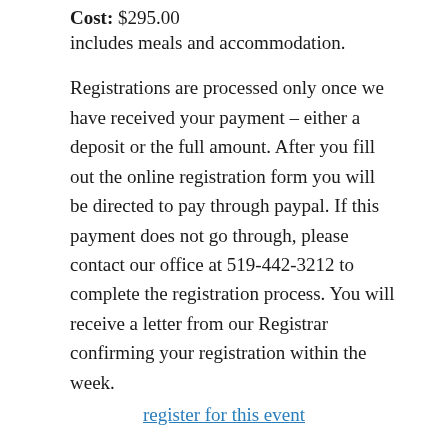Cost: $295.00 includes meals and accommodation.
Registrations are processed only once we have received your payment – either a deposit or the full amount. After you fill out the online registration form you will be directed to pay through paypal. If this payment does not go through, please contact our office at 519-442-3212 to complete the registration process. You will receive a letter from our Registrar confirming your registration within the week.
register for this event